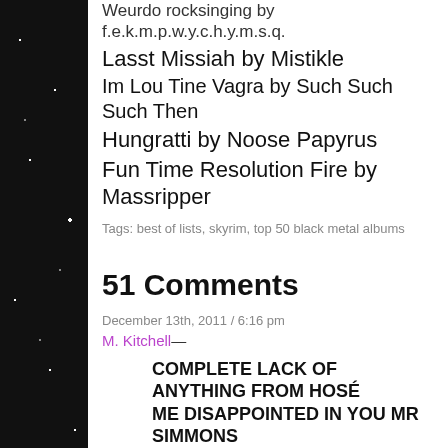Weurdo rocksinging by f.e.k.m.p.w.y.c.h.y.m.s.q.
Lasst Missiah by Mistikle
Im Lou Tine Vagra by Such Such Such Then
Hungratti by Noose Papyrus
Fun Time Resolution Fire by Massripper
Tags: best of lists, skyrim, top 50 black metal albums
51 Comments
December 13th, 2011 / 6:16 pm
M. Kitchell—
COMPLETE LACK OF ANYTHING FROM HOSÉ ME DISAPPOINTED IN YOU MR SIMMONS
December 13th, 2011 / 6:19 pm